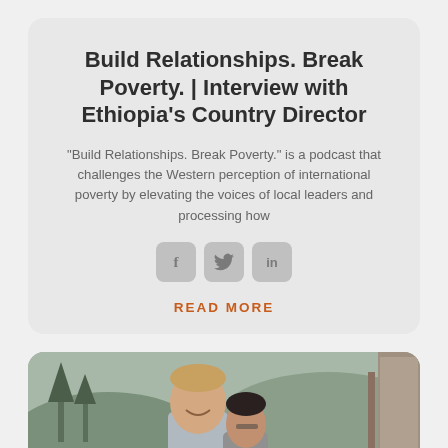Build Relationships. Break Poverty. | Interview with Ethiopia's Country Director
"Build Relationships. Break Poverty." is a podcast that challenges the Western perception of international poverty by elevating the voices of local leaders and processing how
[Figure (infographic): Three social media icon buttons: Facebook (f), Twitter (bird), LinkedIn (in)]
READ MORE
[Figure (photo): Photo of two people outdoors with trees and mountains in the background, smiling at the camera]